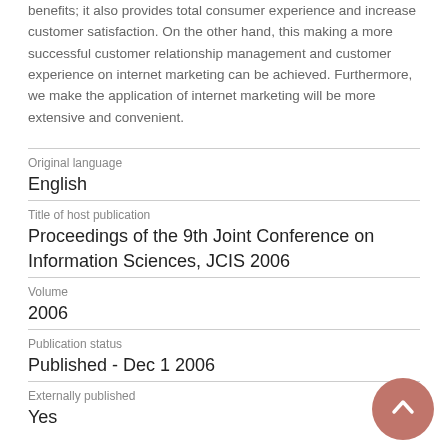benefits; it also provides total consumer experience and increase customer satisfaction. On the other hand, this making a more successful customer relationship management and customer experience on internet marketing can be achieved. Furthermore, we make the application of internet marketing will be more extensive and convenient.
| Original language | English |
| Title of host publication | Proceedings of the 9th Joint Conference on Information Sciences, JCIS 2006 |
| Volume | 2006 |
| Publication status | Published - Dec 1 2006 |
| Externally published | Yes |